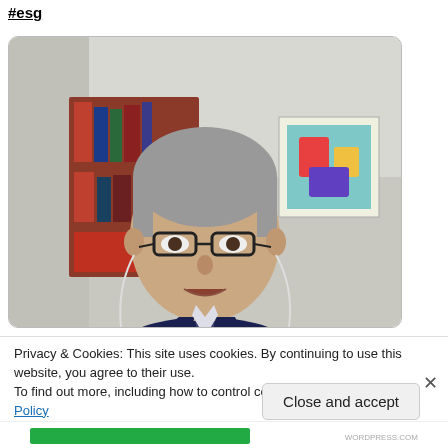#esg
[Figure (photo): A middle-aged man with gray hair wearing glasses and a dark suit with a patterned tie, speaking on a video call with earphones. Bookshelves and artwork are visible in the background.]
Privacy & Cookies: This site uses cookies. By continuing to use this website, you agree to their use.
To find out more, including how to control cookies, see here: Cookie Policy
Close and accept